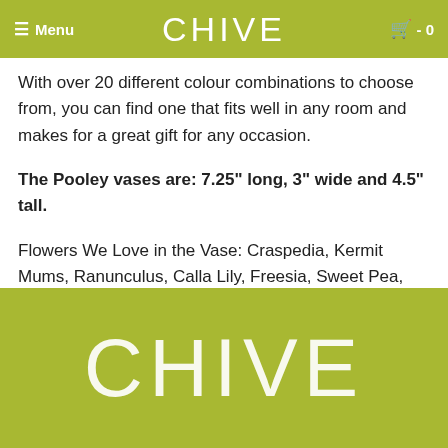Menu | CHIVE | cart - 0
With over 20 different colour combinations to choose from, you can find one that fits well in any room and makes for a great gift for any occasion.
The Pooley vases are: 7.25" long, 3" wide and 4.5" tall.
Flowers We Love in the Vase: Craspedia, Kermit Mums, Ranunculus, Calla Lily, Freesia, Sweet Pea, Gerber Daisy, BLOMMA!
CHIVE